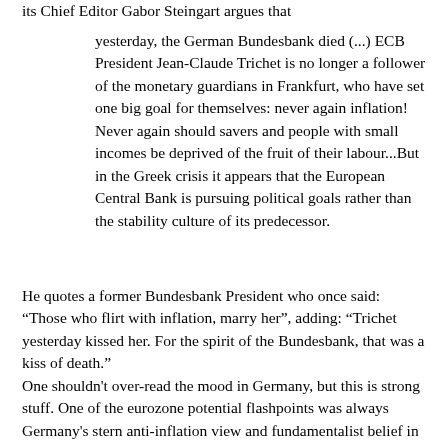its Chief Editor Gabor Steingart argues that
yesterday, the German Bundesbank died (...) ECB President Jean-Claude Trichet is no longer a follower of the monetary guardians in Frankfurt, who have set one big goal for themselves: never again inflation! Never again should savers and people with small incomes be deprived of the fruit of their labour...But in the Greek crisis it appears that the European Central Bank is pursuing political goals rather than the stability culture of its predecessor.
He quotes a former Bundesbank President who once said: “Those who flirt with inflation, marry her”, adding: “Trichet yesterday kissed her. For the spirit of the Bundesbank, that was a kiss of death.”
One shouldn't over-read the mood in Germany, but this is strong stuff. One of the eurozone potential flashpoints was always Germany's stern anti-inflation view and fundamentalist belief in a strong euro. This view was bound to be put to a rather unpleasant test as soon as a real crisis